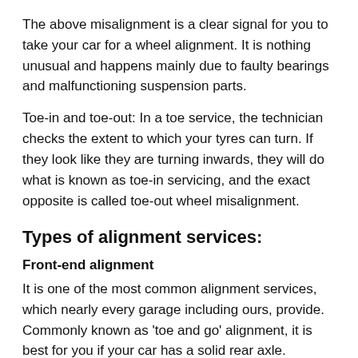The above misalignment is a clear signal for you to take your car for a wheel alignment. It is nothing unusual and happens mainly due to faulty bearings and malfunctioning suspension parts.
Toe-in and toe-out: In a toe service, the technician checks the extent to which your tyres can turn. If they look like they are turning inwards, they will do what is known as toe-in servicing, and the exact opposite is called toe-out wheel misalignment.
Types of alignment services:
Front-end alignment
It is one of the most common alignment services, which nearly every garage including ours, provide. Commonly known as 'toe and go' alignment, it is best for you if your car has a solid rear axle.
Thrust
Again, this requires a solid rear axle, which provides sufficient rotational force to the rear wheels. This kind of alignment